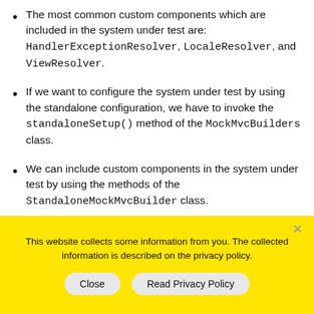The most common custom components which are included in the system under test are: HandlerExceptionResolver, LocaleResolver, and ViewResolver.
If we want to configure the system under test by using the standalone configuration, we have to invoke the standaloneSetup() method of the MockMvcBuilders class.
We can include custom components in the system under test by using the methods of the StandaloneMockMvcBuilder class.
This website collects some information from you. The collected information is described on the privacy policy.